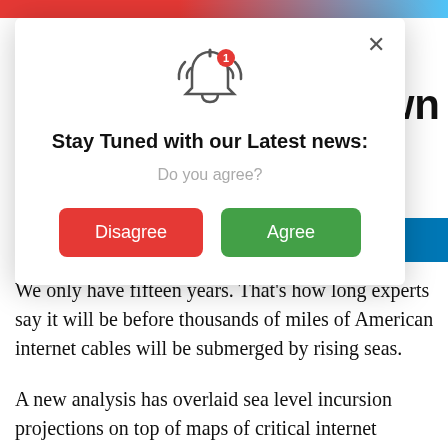[Figure (screenshot): Red and blue gradient header bar at top of webpage]
et never
r will drown
[Figure (screenshot): Modal popup with bell notification icon, close X button, title 'Stay Tuned with our Latest news:', subtitle 'Do you agree?', and two buttons: red 'Disagree' and green 'Agree']
We only have fifteen years. That's how long experts say it will be before thousands of miles of American internet cables will be submerged by rising seas.
A new analysis has overlaid sea level incursion projections on top of maps of critical internet infrastructure in the US, to discover that 'locked in' climate change by 2033 will submerge some 4,000 miles